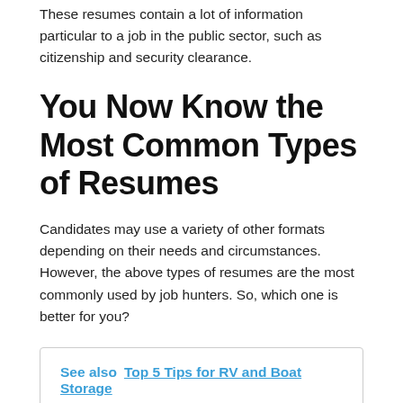These resumes contain a lot of information particular to a job in the public sector, such as citizenship and security clearance.
You Now Know the Most Common Types of Resumes
Candidates may use a variety of other formats depending on their needs and circumstances. However, the above types of resumes are the most commonly used by job hunters. So, which one is better for you?
See also  Top 5 Tips for RV and Boat Storage
Keep checking our website for more information on how to write a resume.